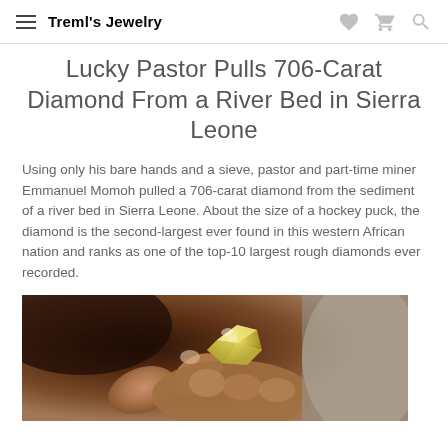Treml's Jewelry
Lucky Pastor Pulls 706-Carat Diamond From a River Bed in Sierra Leone
Using only his bare hands and a sieve, pastor and part-time miner Emmanuel Momoh pulled a 706-carat diamond from the sediment of a river bed in Sierra Leone. About the size of a hockey puck, the diamond is the second-largest ever found in this western African nation and ranks as one of the top-10 largest rough diamonds ever recorded.
[Figure (photo): Close-up photo of a hand holding a large rough yellow diamond crystal]